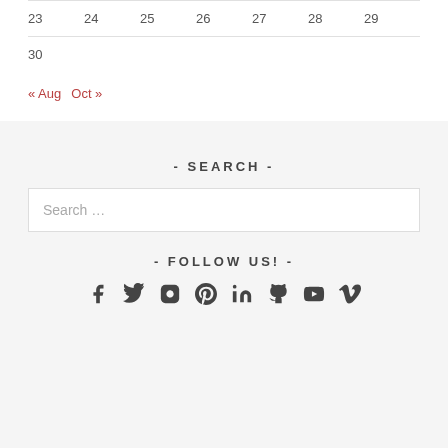| 23 | 24 | 25 | 26 | 27 | 28 | 29 |
| 30 |  |  |  |  |  |  |
« Aug  Oct »
- SEARCH -
Search …
- FOLLOW US! -
[Figure (other): Social media icons: Facebook, Twitter, Instagram, Pinterest, LinkedIn, GitHub, YouTube, Vimeo]